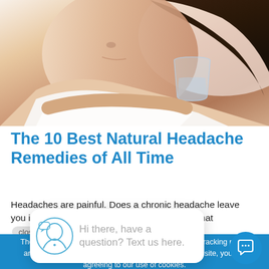[Figure (photo): Woman in white tank top holding a glass of water, lying down, appearing to have a headache]
The 10 Best Natural Headache Remedies of All Time
Headaches are painful. Does a chronic headache leave you in agony on a regular basis? Do you find that common headache pain medication reveal to you [...
close
Hi there, have a question? Text us here.
The Upper Cervical Awareness website uses cookies, tracking pixels and related technologies. By continuing to browse our site, you are agreeing to our use of cookies.